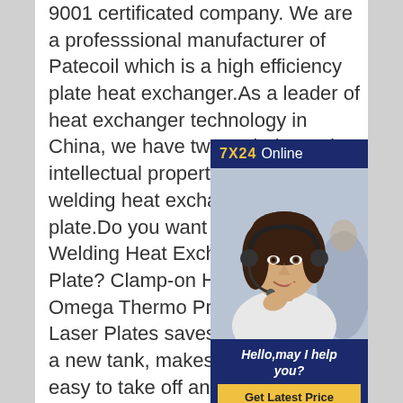9001 certificated company. We are a professsional manufacturer of Patecoil which is a high efficiency plate heat exchanger.As a leader of heat exchange technology in China, we have twenty independent intellectual property patents.laser welding heat exchanger clamp on plate.Do you want results for Laser Welding Heat Exchanger Clampon Plate? Clamp-on Heat Exchanger Omega Thermo ProductsUsing Laser Plates saves cost of building a new tank, makes heat exchange easy to take off and replace and can be easily placed anywhere on the tank. Omega Thermo Products makes single embossed and double embossed clamp-on plates depending on your needs.
[Figure (other): 7X24 Online chat widget showing a customer service representative (woman with headset) and a 'Hello, may I help you?' message with a 'Get Latest Price' button]